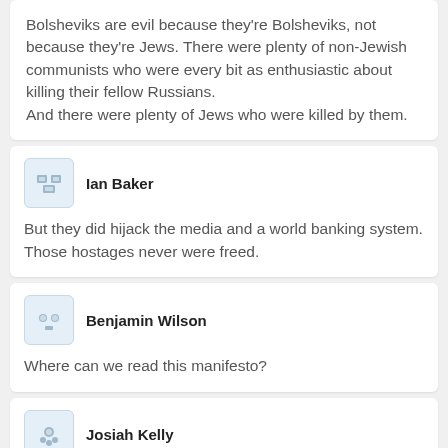Bolsheviks are evil because they're Bolsheviks, not because they're Jews. There were plenty of non-Jewish communists who were every bit as enthusiastic about killing their fellow Russians.
And there were plenty of Jews who were killed by them.
Ian Baker
But they did hijack the media and a world banking system. Those hostages never were freed.
Benjamin Wilson
Where can we read this manifesto?
Josiah Kelly
there was a pdf of it. god knows where it is now.